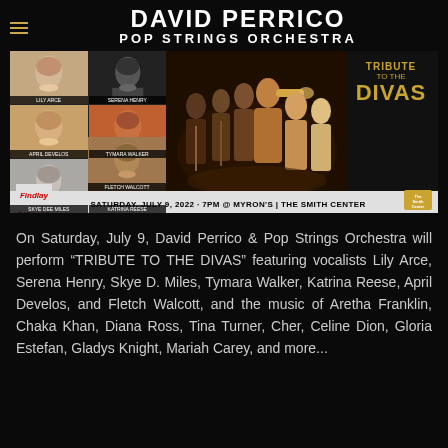DAVID PERRICO POP STRINGS ORCHESTRA
[Figure (photo): Event promotional banner for 'Tribute to the Divas' featuring performer headshots on the left (Lily Arce, Serena Henry, April Develos, Tymara Walker, Skye Dee Miles, Katrina Reese, Fletch Walcott), orchestra photo in center, 'Tribute to the Divas' gold text on right, and Findlay Cadillac sponsor bar at bottom reading: SATURDAY, JULY 9, 2022 · 7PM @ MYRON'S | THE SMITH CENTER]
On Saturday, July 9, David Perrico & Pop Strings Orchestra will perform "TRIBUTE TO THE DIVAS" featuring vocalists Lily Arce, Serena Henry, Skye D. Miles, Tymara Walker, Katrina Reese, April Develos, and Fletch Walcott, and the music of Aretha Franklin, Chaka Khan, Diana Ross, Tina Turner, Cher, Celine Dion, Gloria Estefan, Gladys Knight, Mariah Carey, and more...